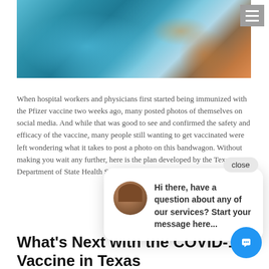[Figure (photo): Close-up photo of gloved hands in blue nitrile gloves holding a syringe with blue liquid, medical/vaccine context]
When hospital workers and physicians first started being immunized with the Pfizer vaccine two weeks ago, many posted photos of themselves on social media. And while that was good to see and confirmed the safety and efficacy of the vaccine, many people still wanting to get vaccinated were left wondering what it takes to post a photo on this bandwagon. Without making you wait any further, here is the plan developed by the Texas Department of State Health Services:
What's Next with the COVID-19 Vaccine in Texas